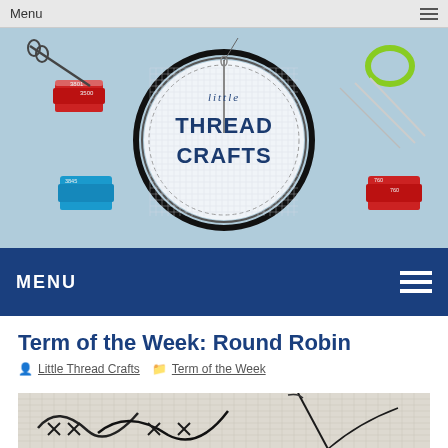Menu
[Figure (logo): Little Thread Crafts logo in an embroidery hoop surrounded by colorful thread spools and needles on a light blue background]
MENU
Term of the Week: Round Robin
Little Thread Crafts | Term of the Week
[Figure (photo): Close-up photo of cross-stitch embroidery work in progress on aida cloth with needle and black thread]